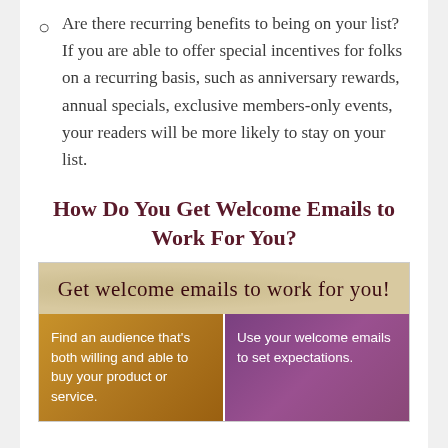Are there recurring benefits to being on your list? If you are able to offer special incentives for folks on a recurring basis, such as anniversary rewards, annual specials, exclusive members-only events, your readers will be more likely to stay on your list.
How Do You Get Welcome Emails to Work For You?
[Figure (infographic): Infographic with handwritten-style title 'Get welcome emails to work for you!' on a tan/parchment background, below which are two colored panels: left panel (golden/amber) says 'Find an audience that's both willing and able to buy your product or service.' and right panel (purple/violet) says 'Use your welcome emails to set expectations.']